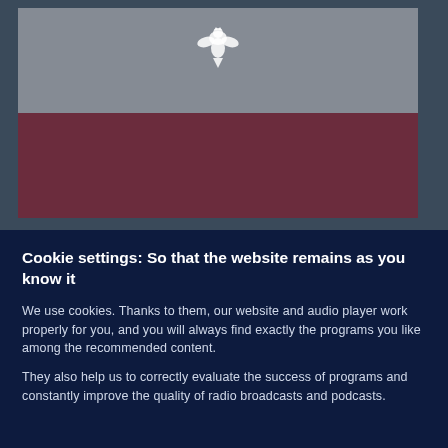[Figure (photo): Polish flag (white top half, red bottom half with eagle emblem) waving, partially darkened/overlaid with a blue-grey tint. Dark grey border/background around the flag.]
Cookie settings: So that the website remains as you know it
We use cookies. Thanks to them, our website and audio player work properly for you, and you will always find exactly the programs you like among the recommended content.
They also help us to correctly evaluate the success of programs and constantly improve the quality of radio broadcasts and podcasts.